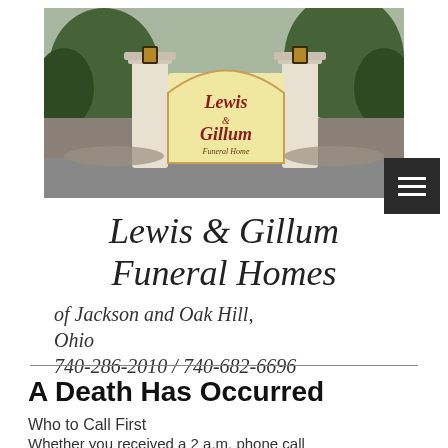[Figure (photo): Entrance sign of Lewis & Gillum Funeral Home with white pillars and illuminated sign, surrounded by trees and landscaping. A dark hamburger menu button overlay is visible in the bottom-right of the image.]
Lewis & Gillum Funeral Homes
of Jackson and Oak Hill, Ohio
740-286-2010 / 740-682-6696
A Death Has Occurred
Who to Call First
Whether you received a 2 a.m. phone call